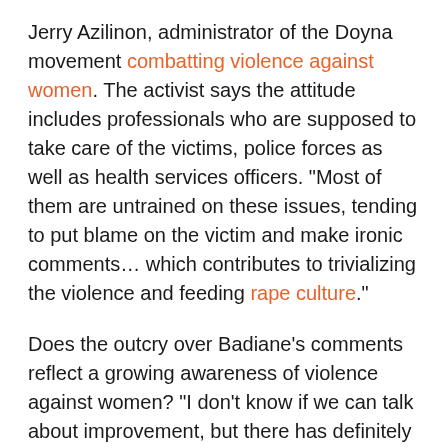Jerry Azilinon, administrator of the Doyna movement combatting violence against women. The activist says the attitude includes professionals who are supposed to take care of the victims, police forces as well as health services officers. "Most of them are untrained on these issues, tending to put blame on the victim and make ironic comments… which contributes to trivializing the violence and feeding rape culture."
Does the outcry over Badiane's comments reflect a growing awareness of violence against women? "I don't know if we can talk about improvement, but there has definitely been an increase in awareness over recent years. The debate on rape culture is shifting to the public sphere," says Azilinon. "If people making such remarks have to deal with consequences, they will think twice before they act." She also spoke about little to be done...